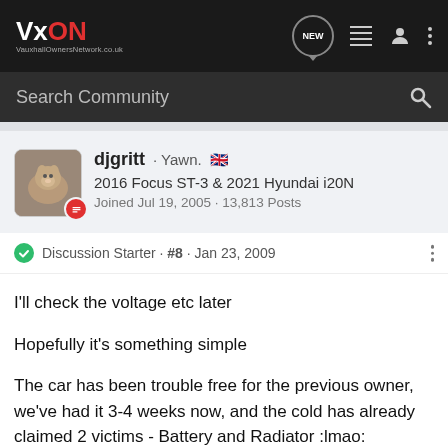VxON VauxhallOwnersNetwork.co.uk
Search Community
djgritt · Yawn. 🇬🇧
2016 Focus ST-3 & 2021 Hyundai i20N
Joined Jul 19, 2005 · 13,813 Posts
Discussion Starter · #8 · Jan 23, 2009
I'll check the voltage etc later

Hopefully it's something simple

The car has been trouble free for the previous owner, we've had it 3-4 weeks now, and the cold has already claimed 2 victims - Battery and Radiator :lmao: